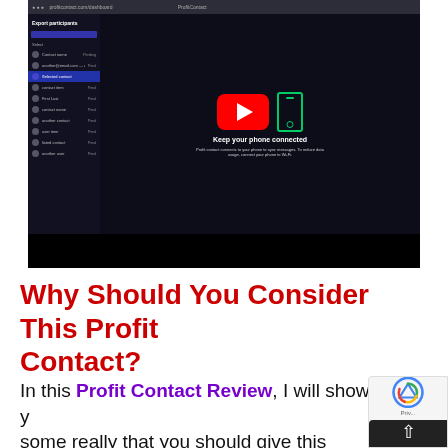[Figure (screenshot): Screenshot of a dark-themed web application (Profit Contact) showing an 'Export participants' panel on the left side with a list of contacts, and in the main content area a YouTube play button overlay with a phone icon and text 'Keep your phone connected'. The bottom has a dark blue navigation bar. Below the main screenshot area is a black region.]
Why Should You Consider This Profit Contact?
In this Profit Contact Review, I will show you some really that you should give this product a